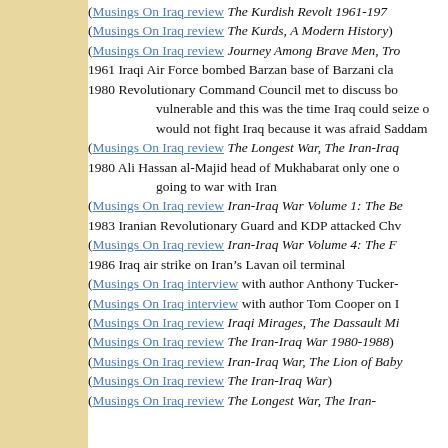(Musings On Iraq review The Kurdish Revolt 1961-1970)
(Musings On Iraq review The Kurds, A Modern History)
(Musings On Iraq review Journey Among Brave Men, Tr...)
1961 Iraqi Air Force bombed Barzan base of Barzani clan
1980 Revolutionary Command Council met to discuss bo... vulnerable and this was the time Iraq could seize... would not fight Iraq because it was afraid Saddam
(Musings On Iraq review The Longest War, The Iran-Iraq...)
1980 Ali Hassan al-Majid head of Mukhabarat only one o... going to war with Iran
(Musings On Iraq review Iran-Iraq War Volume 1: The Be...)
1983 Iranian Revolutionary Guard and KDP attacked Chv...
(Musings On Iraq review Iran-Iraq War Volume 4: The F...)
1986 Iraq air strike on Iran’s Lavan oil terminal
(Musings On Iraq interview with author Anthony Tucker-...)
(Musings On Iraq interview with author Tom Cooper on I...)
(Musings On Iraq review Iraqi Mirages, The Dassault Mi...)
(Musings On Iraq review The Iran-Iraq War 1980-1988)
(Musings On Iraq review Iran-Iraq War, The Lion of Baby...)
(Musings On Iraq review The Iran-Iraq War)
(Musings On Iraq review The Longest War, The Iran-...)